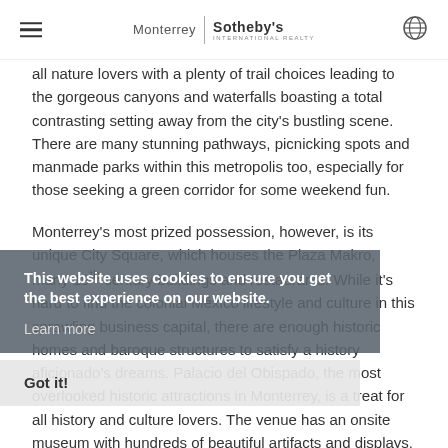Monterrey | Sotheby's International Realty
all nature lovers with a plenty of trail choices leading to the gorgeous canyons and waterfalls boasting a total contrasting setting away from the city's bustling scene. There are many stunning pathways, picnicking spots and manmade parks within this metropolis too, especially for those seeking a green corridor for some weekend fun.
Monterrey's most prized possession, however, is its unique City Square, which houses the Plaza Makro, many 19th century buildings and restaurants. While it's hard to find the colonial México lifestyle and culture in this sprawling business capital, there are enough historic homes and baroque structures to satisfy a history aficionado's dreams. Palacio del Obispado, the most overlooked historic attractions in Monterrey, is a treat for all history and culture lovers. The venue has an onsite museum with hundreds of beautiful artifacts and displays. Visitors come here to witness the baroque palace's architecture, unique sculpture
This website uses cookies to ensure you get the best experience on our website.
Learn more
Got it!